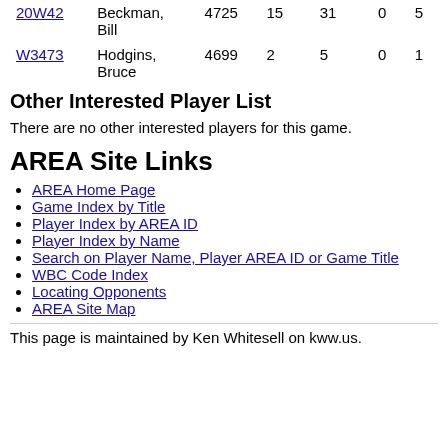| ID | Name | Col1 | Col2 | Col3 | Col4 | Col5 |
| --- | --- | --- | --- | --- | --- | --- |
| 20W42 | Beckman, Bill | 4725 | 15 | 31 | 0 | 5 |
| W3473 | Hodgins, Bruce | 4699 | 2 | 5 | 0 | 1 |
Other Interested Player List
There are no other interested players for this game.
AREA Site Links
AREA Home Page
Game Index by Title
Player Index by AREA ID
Player Index by Name
Search on Player Name, Player AREA ID or Game Title
WBC Code Index
Locating Opponents
AREA Site Map
This page is maintained by Ken Whitesell on kww.us.